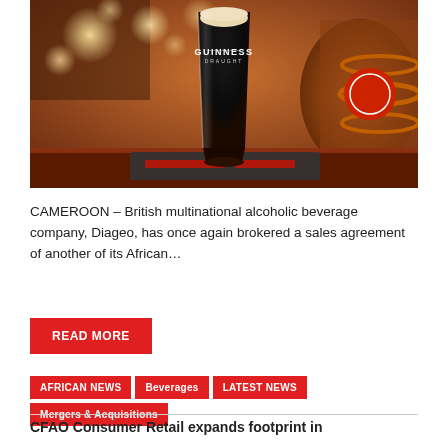[Figure (photo): A pint of Guinness Draught in a branded glass sitting on a pub bar counter, with barrels and warm bokeh lights in the background.]
CAMEROON – British multinational alcoholic beverage company, Diageo, has once again brokered a sales agreement of another of its African…
READ MORE
AFRICAN NEWS   Beverages   LATEST NEWS   Mergers & Acquisitions
CFAO Consumer Retail expands footprint in